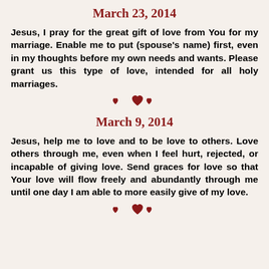March 23, 2014
Jesus, I pray for the great gift of love from You for my marriage. Enable me to put (spouse's name) first, even in my thoughts before my own needs and wants. Please grant us this type of love, intended for all holy marriages.
[Figure (illustration): Three small red hearts decorative divider]
March 9, 2014
Jesus, help me to love and to be love to others. Love others through me, even when I feel hurt, rejected, or incapable of giving love. Send graces for love so that Your love will flow freely and abundantly through me until one day I am able to more easily give of my love.
[Figure (illustration): Three small red hearts decorative divider]